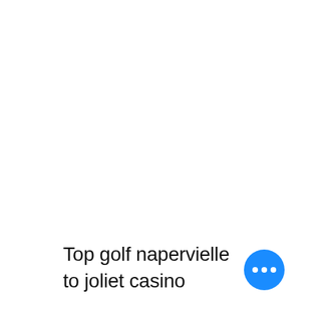Top golf napervielle to joliet casino
[Figure (other): Blue circle button with three white dots (ellipsis/more options button)]